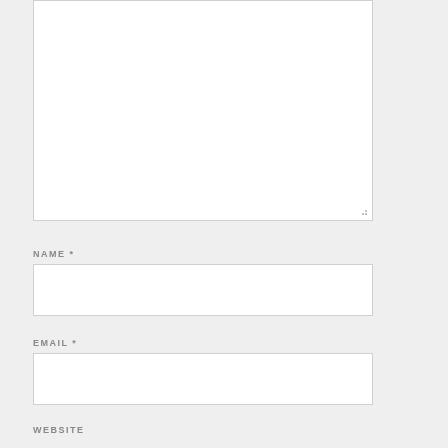[Figure (screenshot): A large empty textarea input box with a resize handle at the bottom right corner]
NAME *
[Figure (screenshot): An empty text input box for the Name field]
EMAIL *
[Figure (screenshot): An empty text input box for the Email field]
WEBSITE